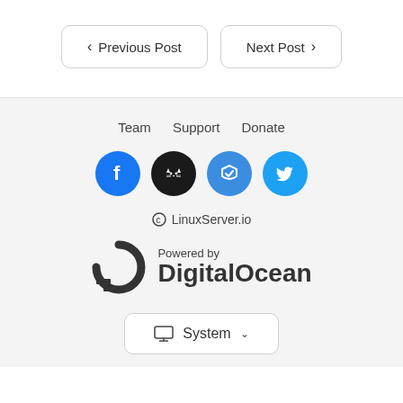< Previous Post
Next Post >
Team   Support   Donate
[Figure (illustration): Four social media icon circles: Facebook (blue), GitHub (black), Lasso/Stackshare (blue), Twitter (light blue)]
© LinuxServer.io
[Figure (logo): Powered by DigitalOcean logo with circular arrow icon]
System ∨